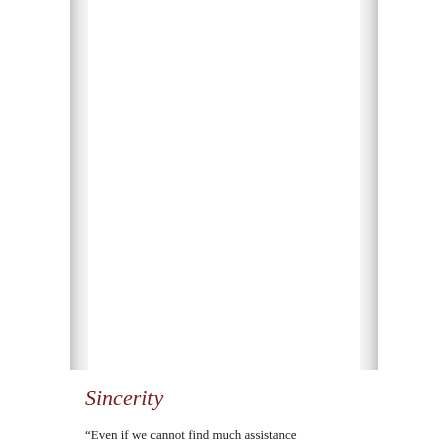[Figure (illustration): Two vertical bordered columns representing a book spread, with white interior and grey gradient borders on left and right sides, set against a white background.]
Sincerity
“Even if we cannot find much assistance